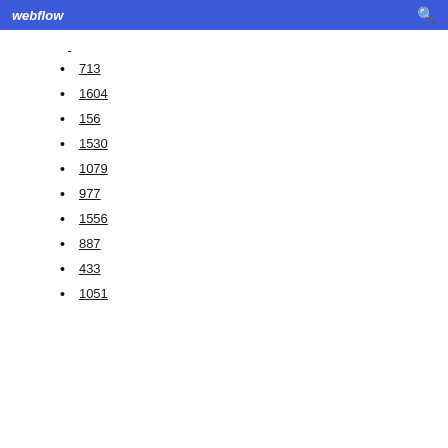webflow
713
1604
156
1530
1079
977
1556
887
433
1051